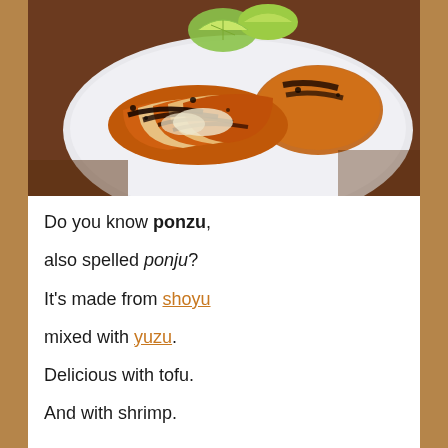[Figure (photo): Grilled chicken breast sliced on a white plate with lime wedges, showing charred grill marks on golden-brown chicken]
Do you know ponzu, also spelled ponju? It's made from shoyu mixed with yuzu. Delicious with tofu. And with shrimp.